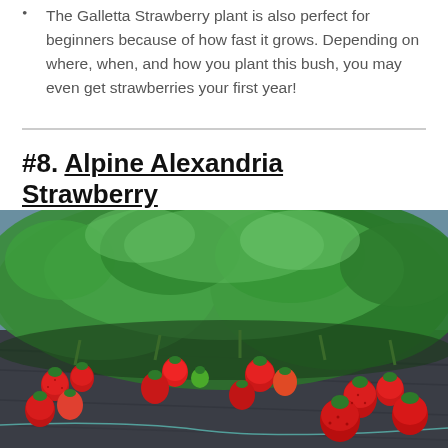The Galletta Strawberry plant is also perfect for beginners because of how fast it grows. Depending on where, when, and how you plant this bush, you may even get strawberries your first year!
#8. Alpine Alexandria Strawberry
[Figure (photo): Photograph of a row of strawberry plants with ripe red strawberries growing on dark ground cover mulch, lush green leaves visible above the fruit.]